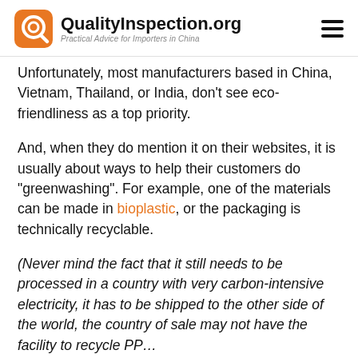QualityInspection.org – Practical Advice for Importers in China
Unfortunately, most manufacturers based in China, Vietnam, Thailand, or India, don't see eco-friendliness as a top priority.
And, when they do mention it on their websites, it is usually about ways to help their customers do "greenwashing". For example, one of the materials can be made in bioplastic, or the packaging is technically recyclable.
(Never mind the fact that it still needs to be processed in a country with very carbon-intensive electricity, it has to be shipped to the other side of the world, the country of sale may not have the facility to recycle PP…